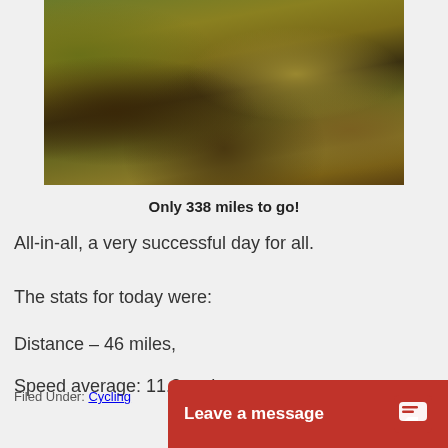[Figure (photo): Photograph of scrubland or heathland vegetation with brown and olive-green bushes and some bare branches]
Only 338 miles to go!
All-in-all, a very successful day for all.
The stats for today were:
Distance – 46 miles,
Speed average: 11.2 mph
Time: 4 hours
Filed Under: Cycling
Leave a message